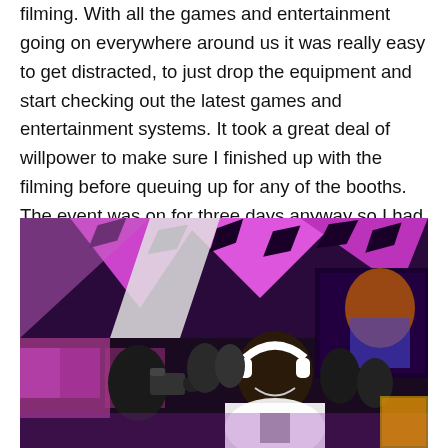filming. With all the games and entertainment going on everywhere around us it was really easy to get distracted, to just drop the equipment and start checking out the latest games and entertainment systems. It took a great deal of willpower to make sure I finished up with the filming before queuing up for any of the booths. The event was on for three days anyway so I had plenty of time to capture exactly what I needed for the video.
[Figure (photo): A person wearing white headphones and a white t-shirt at a gaming expo, being filmed by a cameraman. The background shows a brightly lit expo hall with purple/magenta lighting and gaming displays.]